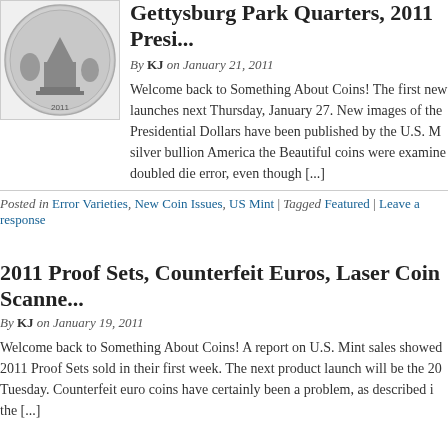[Figure (photo): A silver coin - Gettysburg Park Quarter 2011, showing a monument/memorial scene]
Gettysburg Park Quarters, 2011 Presi...
By KJ on January 21, 2011
Welcome back to Something About Coins! The first new launches next Thursday, January 27. New images of the Presidential Dollars have been published by the U.S. Mint. silver bullion America the Beautiful coins were examined. doubled die error, even though [...]
Posted in Error Varieties, New Coin Issues, US Mint | Tagged Featured | Leave a response
2011 Proof Sets, Counterfeit Euros, Laser Coin Scanner...
By KJ on January 19, 2011
Welcome back to Something About Coins! A report on U.S. Mint sales showed 2011 Proof Sets sold in their first week. The next product launch will be the 20 Tuesday. Counterfeit euro coins have certainly been a problem, as described i the [...]
Posted in New Coin Issues, US Mint | Leave a response